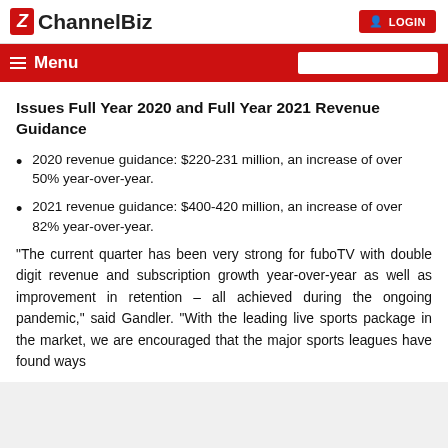ChannelBiz | LOGIN
Issues Full Year 2020 and Full Year 2021 Revenue Guidance
2020 revenue guidance: $220-231 million, an increase of over 50% year-over-year.
2021 revenue guidance: $400-420 million, an increase of over 82% year-over-year.
“The current quarter has been very strong for fuboTV with double digit revenue and subscription growth year-over-year as well as improvement in retention – all achieved during the ongoing pandemic,” said Gandler. “With the leading live sports package in the market, we are encouraged that the major sports leagues have found ways